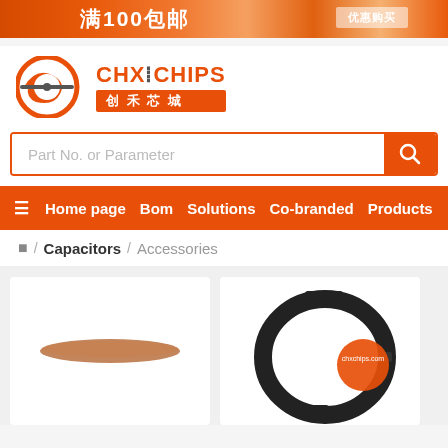[Figure (screenshot): Orange promotional banner with Chinese text '满100包邮' (free shipping over 100) and a button]
[Figure (logo): CHX CHIPS logo with orange circular icon and Chinese text '创禾芯城']
Part No. or Parameter
≡ Home page  Bom  Solutions  Co-branded  Products
🏠 / Capacitors / Accessories
[Figure (photo): Product image showing a small orange/brown capacitor disc component on white background]
[Figure (photo): Product image showing a black circular capacitor clamp/bracket with orange chxchips.com watermark]